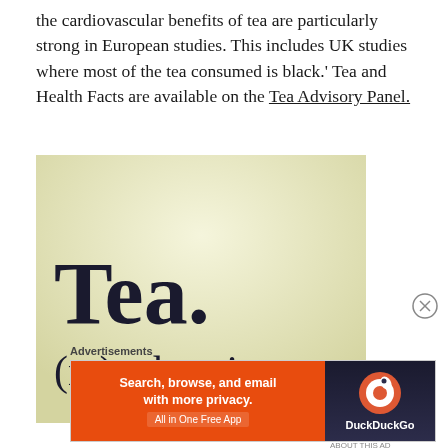the cardiovascular benefits of tea are particularly strong in European studies. This includes UK studies where most of the tea consumed is black.' Tea and Health Facts are available on the Tea Advisory Panel.
[Figure (illustration): Cream/light yellow background image with large serif text reading 'Tea.' and below it '(n.)  a hug in a cup']
Advertisements
[Figure (screenshot): DuckDuckGo advertisement banner. Left side orange with text 'Search, browse, and email with more privacy. All in One Free App'. Right side dark with DuckDuckGo logo and name.]